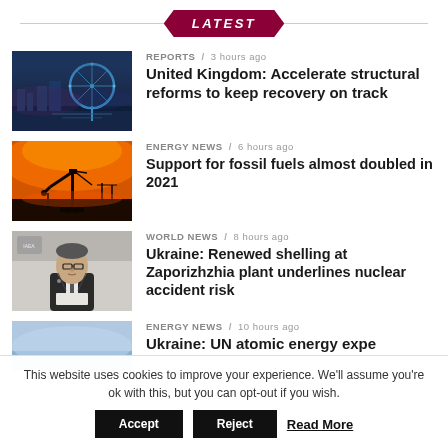LATEST
REPORTS / 3 hours ago — United Kingdom: Accelerate structural reforms to keep recovery on track
ENERGY NEWS / 6 hours ago — Support for fossil fuels almost doubled in 2021
WORLD NEWS / 8 hours ago — Ukraine: Renewed shelling at Zaporizhzhia plant underlines nuclear accident risk
ENERGY NEWS / 10 hours ago — Ukraine: UN atomic energy experts head
This website uses cookies to improve your experience. We'll assume you're ok with this, but you can opt-out if you wish. Accept  Reject  Read More